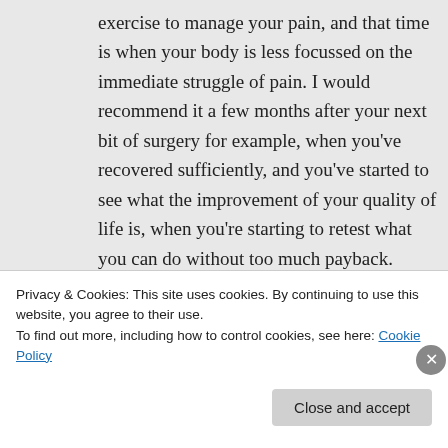exercise to manage your pain, and that time is when your body is less focussed on the immediate struggle of pain. I would recommend it a few months after your next bit of surgery for example, when you've recovered sufficiently, and you've started to see what the improvement of your quality of life is, when you're starting to retest what you can do without too much payback.

For me, the right time was about 6 months
Privacy & Cookies: This site uses cookies. By continuing to use this website, you agree to their use.
To find out more, including how to control cookies, see here: Cookie Policy
Close and accept